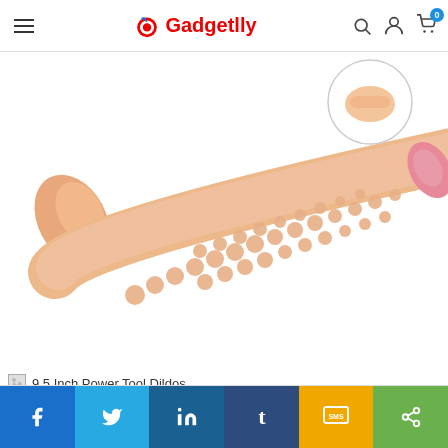Gadgetlly — navigation header with hamburger menu, logo, search, account, and cart icons
[Figure (photo): Product photo of a 9.5 Inch Power Tool Dildo — a flesh-toned adult toy with textured bumps along the shaft and a pink tip, shown diagonally on a white background with a circular inset image in the top right corner]
9.5 Inch Power Tool Dildos
[Figure (infographic): Social sharing bar with six buttons: Facebook (dark blue, f icon), Twitter (light blue, bird icon), LinkedIn (dark teal, in icon), Tumblr (dark blue, t icon), SMS (yellow/gold, SMS icon), Share (green, share icon)]